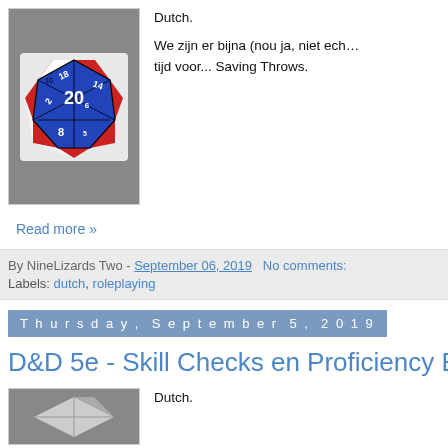[Figure (illustration): A d20 die (icosahedron) with red, white, and blue faces showing numbers including 20, 18, 14, 8, 10, 2, and others]
Dutch.

We zijn er bijna (nou ja, niet ech... tijd voor... Saving Throws.
Read more »
By NineLizards Two - September 06, 2019   No comments:
Labels: dutch, roleplaying
Thursday, September 5, 2019
D&D 5e - Skill Checks en Proficiency Bo
Dutch.
[Figure (illustration): Partial view of another illustration at bottom of page]